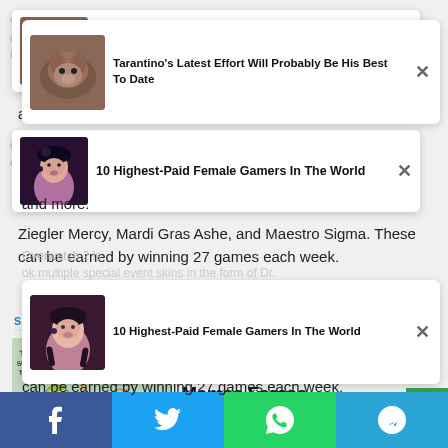[Figure (screenshot): Notification card with dog thumbnail: Tarantino's Latest Effort Will Probably Be His Best To Date]
and more.
[Figure (screenshot): Notification card with woman thumbnail: 10 Highest-Paid Female Gamers In The World]
Ziegler Mercy, Mardi Gras Ashe, and Maestro Sigma. These can be earned by winning 27 games each week.
SPONSORED CONTENT
[Figure (logo): mgid logo with play button]
[Figure (illustration): Cartoon image: The Scroll of Truth / AYEHH meme cartoon]
The Best Ukrainian War Memes By The Ukrainian Memes Forces
Brainberries
[Figure (screenshot): Social sharing bar: Facebook, Twitter, WhatsApp, Telegram buttons]